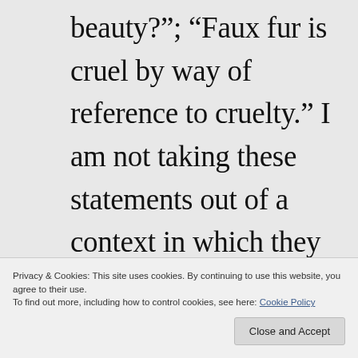beauty?"; “Faux fur is cruel by way of reference to cruelty.” I am not taking these statements out of a context in which they “make sense,” for there is no context. Their silliness from which they have been
Privacy & Cookies: This site uses cookies. By continuing to use this website, you agree to their use.
To find out more, including how to control cookies, see here: Cookie Policy
Close and Accept